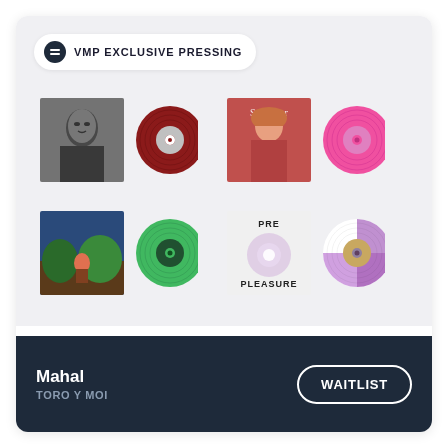[Figure (illustration): VMP Exclusive Pressing badge with circular logo icon containing two horizontal bars]
[Figure (photo): Grid of 4 album cover pairs each showing an album sleeve and a colored vinyl record: top-left black and white face portrait with dark red vinyl, top-right pink Superstar cover with hot pink vinyl, bottom-left colorful illustrated album with green vinyl, bottom-right Pre Pleasure album cover with purple and white vinyl]
Mahal
TORO Y MOI
WAITLIST